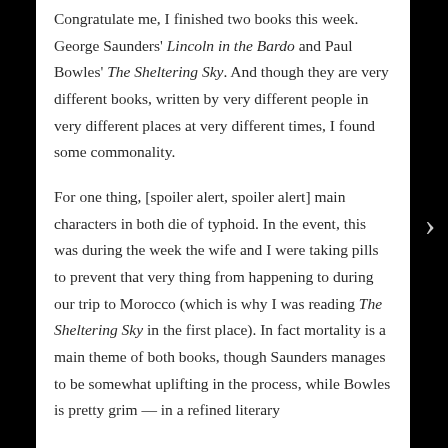Congratulate me, I finished two books this week. George Saunders' Lincoln in the Bardo and Paul Bowles' The Sheltering Sky. And though they are very different books, written by very different people in very different places at very different times, I found some commonality.
For one thing, [spoiler alert, spoiler alert] main characters in both die of typhoid. In the event, this was during the week the wife and I were taking pills to prevent that very thing from happening to during our trip to Morocco (which is why I was reading The Sheltering Sky in the first place). In fact mortality is a main theme of both books, though Saunders manages to be somewhat uplifting in the process, while Bowles is pretty grim — in a refined literary